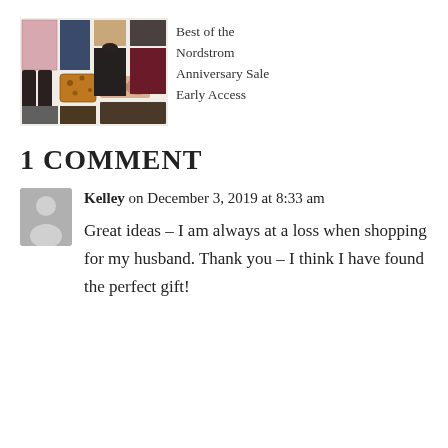[Figure (photo): Collage of fashion clothing items including skirts, jeans, boots, tops, sunglasses, and jackets arranged in a grid.]
Best of the Nordstrom Anniversary Sale Early Access
1 COMMENT
Kelley on December 3, 2019 at 8:33 am
Great ideas – I am always at a loss when shopping for my husband. Thank you – I think I have found the perfect gift!